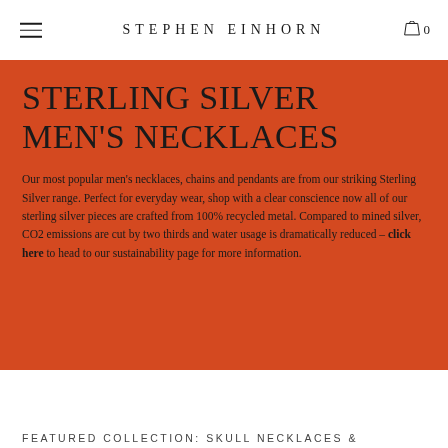STEPHEN EINHORN
STERLING SILVER MEN'S NECKLACES
Our most popular men's necklaces, chains and pendants are from our striking Sterling Silver range. Perfect for everyday wear, shop with a clear conscience now all of our sterling silver pieces are crafted from 100% recycled metal. Compared to mined silver, CO2 emissions are cut by two thirds and water usage is dramatically reduced – click here to head to our sustainability page for more information.
FEATURED COLLECTION: SKULL NECKLACES &